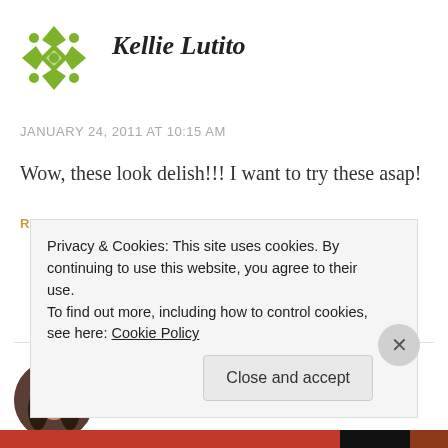[Figure (logo): Green geometric quilt-pattern avatar icon for Kellie Lutito]
Kellie Lutito
JANUARY 24, 2011 AT 10:15 AM
Wow, these look delish!!! I want to try these asap!
REPLY
[Figure (photo): Circular avatar photo of deborahbarnett — a woman with dark curly hair and red-framed glasses]
deborahbarnett
Privacy & Cookies: This site uses cookies. By continuing to use this website, you agree to their use.
To find out more, including how to control cookies, see here: Cookie Policy
Close and accept